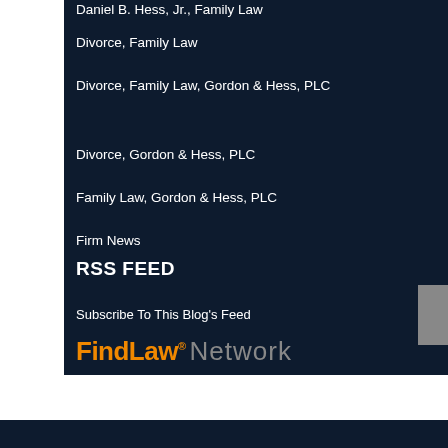Daniel B. Hess, Jr., Family Law
Divorce, Family Law
Divorce, Family Law, Gordon & Hess, PLC
Divorce, Gordon & Hess, PLC
Family Law, Gordon & Hess, PLC
Firm News
RSS Feed
Subscribe To This Blog's Feed
[Figure (logo): FindLaw Network logo with orange FindLaw text and grey Network text]